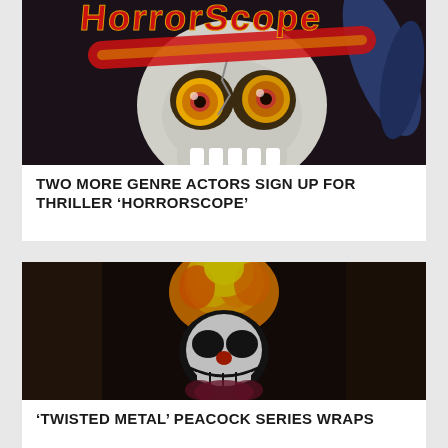[Figure (photo): Horror movie poster for 'Horrorscope' featuring a skull with large yellow and red eyes, and stylized red and yellow lettering at the top against a dark background]
TWO MORE GENRE ACTORS SIGN UP FOR THRILLER ‘HORRORSCOPE’
[Figure (photo): Scene from 'Twisted Metal' Peacock series showing a demonic clown character with a skull-painted face and flames erupting from its head against a dark background]
‘TWISTED METAL’ PEACOCK SERIES WRAPS